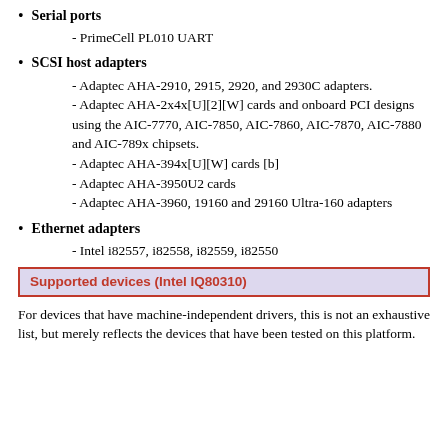Serial ports
- PrimeCell PL010 UART
SCSI host adapters
- Adaptec AHA-2910, 2915, 2920, and 2930C adapters.
- Adaptec AHA-2x4x[U][2][W] cards and onboard PCI designs using the AIC-7770, AIC-7850, AIC-7860, AIC-7870, AIC-7880 and AIC-789x chipsets.
- Adaptec AHA-394x[U][W] cards [b]
- Adaptec AHA-3950U2 cards
- Adaptec AHA-3960, 19160 and 29160 Ultra-160 adapters
Ethernet adapters
- Intel i82557, i82558, i82559, i82550
Supported devices (Intel IQ80310)
For devices that have machine-independent drivers, this is not an exhaustive list, but merely reflects the devices that have been tested on this platform.